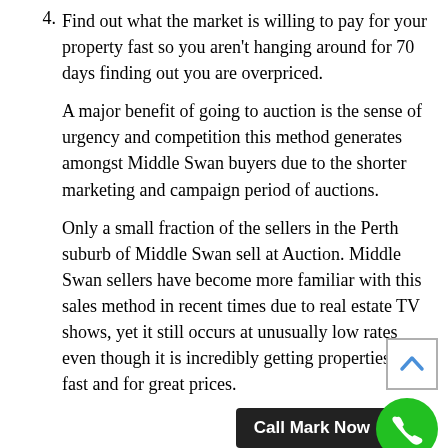4. Find out what the market is willing to pay for your property fast so you aren't hanging around for 70 days finding out you are overpriced.
A major benefit of going to auction is the sense of urgency and competition this method generates amongst Middle Swan buyers due to the shorter marketing and campaign period of auctions.
Only a small fraction of the sellers in the Perth suburb of Middle Swan sell at Auction. Middle Swan sellers have become more familiar with this sales method in recent times due to real estate TV shows, yet it still occurs at unusually low rates even though it is incredibly getting properties sold fast and for great prices.